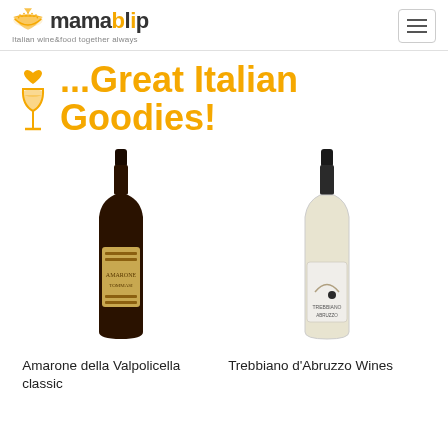mamablip — Italian wine&food together always
...Great Italian Goodies!
[Figure (photo): Red wine bottle - Amarone della Valpolicella classic by Tommasi]
Amarone della Valpolicella classic
[Figure (photo): White wine bottle - Trebbiano d'Abruzzo Wines]
Trebbiano d'Abruzzo Wines